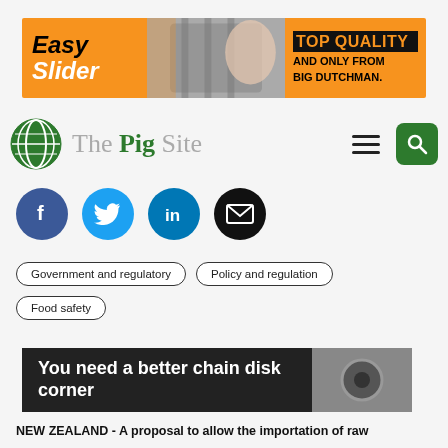[Figure (illustration): Banner advertisement for Big Dutchman 'Easy Slider' product showing pig farming equipment. Orange background with black bold text 'Easy Slider' on left, pig farm photo in center, and 'TOP QUALITY AND ONLY FROM BIG DUTCHMAN.' text on right.]
[Figure (logo): The Pig Site logo with green globe icon and serif/sans text 'The Pig Site'. Hamburger menu icon and green search button to the right.]
[Figure (illustration): Social media sharing icons: Facebook (dark blue circle with 'f'), Twitter (light blue circle with bird), LinkedIn (blue circle with 'in'), Email (black circle with envelope icon).]
Government and regulatory
Policy and regulation
Food safety
[Figure (illustration): Banner advertisement with dark background showing text 'You need a better chain disk corner' in white bold text, with an image of chain disk corner on the right.]
NEW ZEALAND - A proposal to allow the importation of raw